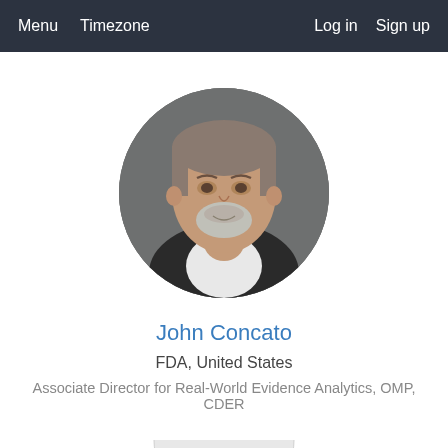Menu  Timezone  Log in  Sign up
[Figure (photo): Circular profile photo of John Concato, a middle-aged man with grey-brown hair and a grey beard, wearing a suit, against a dark grey background]
John Concato
FDA, United States
Associate Director for Real-World Evidence Analytics, OMP, CDER
[Figure (photo): Bottom partial view of another circular profile photo, cut off at the bottom of the page]